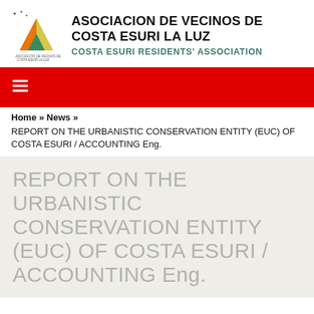[Figure (logo): Asociacion de Vecinos de Costa Esuri La Luz logo with orange, yellow, green triangular design and stars]
ASOCIACION DE VECINOS DE COSTA ESURI LA LUZ
COSTA ESURI RESIDENTS' ASSOCIATION
[Figure (other): Red navigation bar with hamburger menu icon]
Home » News »
REPORT ON THE URBANISTIC CONSERVATION ENTITY (EUC) OF COSTA ESURI / ACCOUNTING Eng.
REPORT ON THE URBANISTIC CONSERVATION ENTITY (EUC) OF COSTA ESURI / ACCOUNTING Eng.